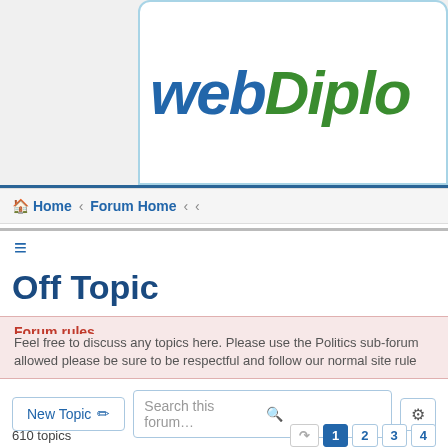webDiplo
Home · Forum Home · ‹ ‹
≡
Off Topic
Forum rules
Feel free to discuss any topics here. Please use the Politics sub-forum allowed please be sure to be respectful and follow our normal site rule
New Topic ✏  Search this forum… 🔍 ⚙
610 topics  1  2  3  4